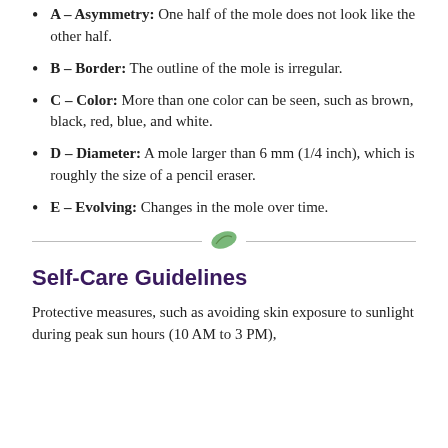A – Asymmetry: One half of the mole does not look like the other half.
B – Border: The outline of the mole is irregular.
C – Color: More than one color can be seen, such as brown, black, red, blue, and white.
D – Diameter: A mole larger than 6 mm (1/4 inch), which is roughly the size of a pencil eraser.
E – Evolving: Changes in the mole over time.
[Figure (illustration): Decorative leaf divider with horizontal lines on either side]
Self-Care Guidelines
Protective measures, such as avoiding skin exposure to sunlight during peak sun hours (10 AM to 3 PM),